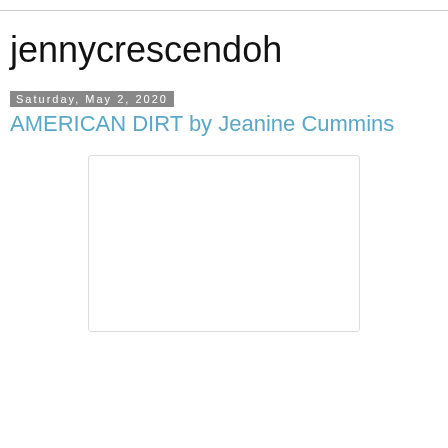jennycrescendoh
Saturday, May 2, 2020
AMERICAN DIRT by Jeanine Cummins
[Figure (other): Book cover image placeholder — white rectangle with light gray border]